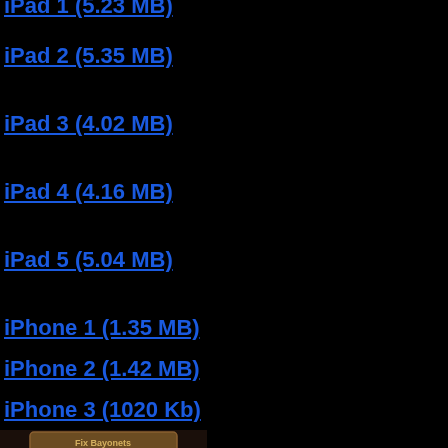iPad 2 (5.35 MB)
iPad 3 (4.02 MB)
iPad 4 (4.16 MB)
iPad 5 (5.04 MB)
iPhone 1 (1.35 MB)
iPhone 2 (1.42 MB)
iPhone 3 (1020 Kb)
[Figure (screenshot): Fix Bayonets game screenshot showing two player emblems - Union and Confederate flags with scores of 0, on a dark battlefield background]
iPhone 4 (1.09 MB)
[Figure (screenshot): Fix Bayonets game screenshot showing a top-down tactical map view with hexagonal terrain tiles, trees, rivers, and military units]